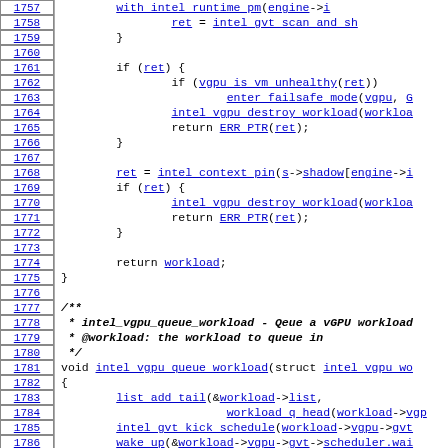[Figure (screenshot): Source code viewer showing C code lines 1757-1787 with line numbers on the left and code on the right. The code shows a function with error handling using ret, intel_gvt, vgpu workload operations, and a comment block for intel_vgpu_queue_workload function.]